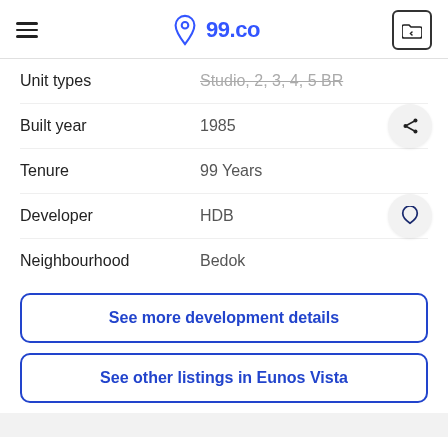99.co
Unit types: Studio, 2, 3, 4, 5 BR
Built year: 1985
Tenure: 99 Years
Developer: HDB
Neighbourhood: Bedok
See more development details
See other listings in Eunos Vista
This listing is no longer available
This property costs 7+% less than the avg: 2 bedroom (across Bedok)